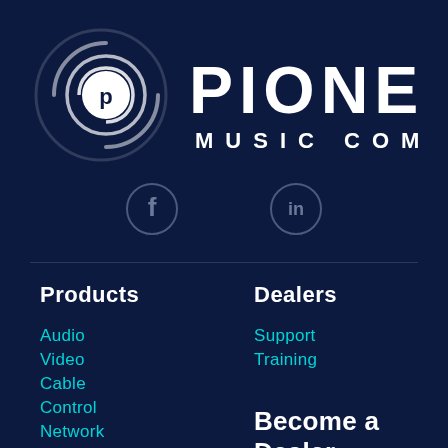[Figure (logo): Pioneer Music Company logo with circular icon on left and text PIONEER MUSIC COMPANY on right, white on dark navy background]
[Figure (illustration): Facebook social media icon in a grey circle]
[Figure (illustration): LinkedIn social media icon in a grey circle]
Products
Audio
Video
Cable
Control
Network
Security
Mobile
Dealers
Support
Training
Become a Dealer